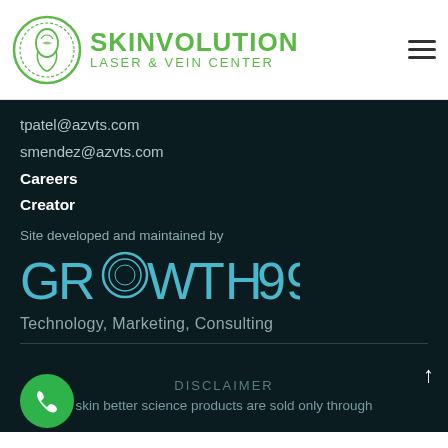[Figure (logo): Skinvolution Laser & Vein Center logo with circular emblem and green text]
tpatel@azvts.com
smendez@azvts.com
Careers
Creator
Site developed and maintained by
[Figure (logo): GROWTH99 Technology, Marketing, Consulting logo in teal/cyan stylized text]
DISCLAIMER
skin better science products are sold only through